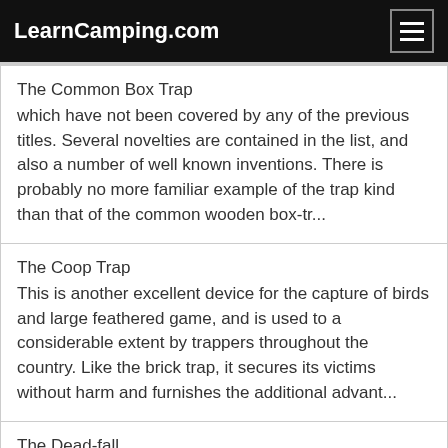LearnCamping.com
The Common Box Trap
which have not been covered by any of the previous titles. Several novelties are contained in the list, and also a number of well known inventions. There is probably no more familiar example of the trap kind than that of the common wooden box-tr...
The Coop Trap
This is another excellent device for the capture of birds and large feathered game, and is used to a considerable extent by trappers throughout the country. Like the brick trap, it secures its victims without harm and furnishes the additional advant...
The Dead-fall
There are several varieties of this trap, some of which are described in other parts of this volume. In general